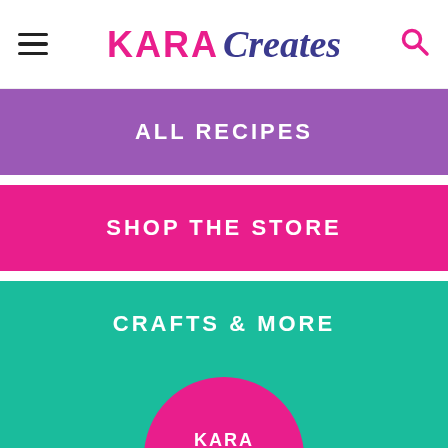KARA Creates
ALL RECIPES
SHOP THE STORE
CRAFTS & MORE
[Figure (logo): Kara Creates logo — white text on pink circle, set on teal background]